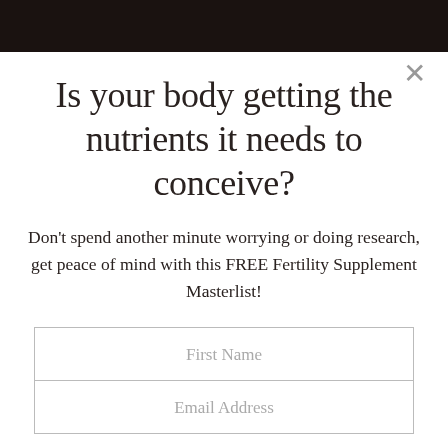[Figure (other): Dark brown/black horizontal bar at top of modal popup]
Is your body getting the nutrients it needs to conceive?
Don't spend another minute worrying or doing research, get peace of mind with this FREE Fertility Supplement Masterlist!
First Name
Email Address